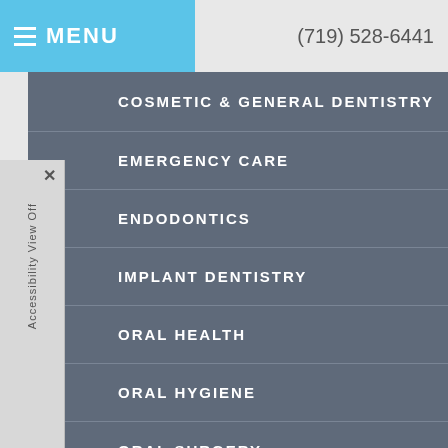MENU  (719) 528-6441
COSMETIC & GENERAL DENTISTRY
EMERGENCY CARE
ENDODONTICS
IMPLANT DENTISTRY
ORAL HEALTH
ORAL HYGIENE
ORAL SURGERY
ORTHODONTICS